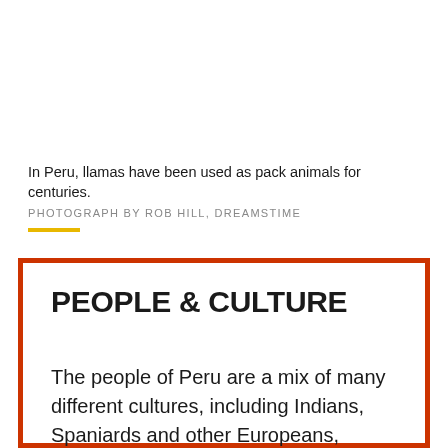In Peru, llamas have been used as pack animals for centuries.
PHOTOGRAPH BY ROB HILL, DREAMSTIME
PEOPLE & CULTURE
The people of Peru are a mix of many different cultures, including Indians, Spaniards and other Europeans, descendants of African slaves, and Asians. Until recently, most people